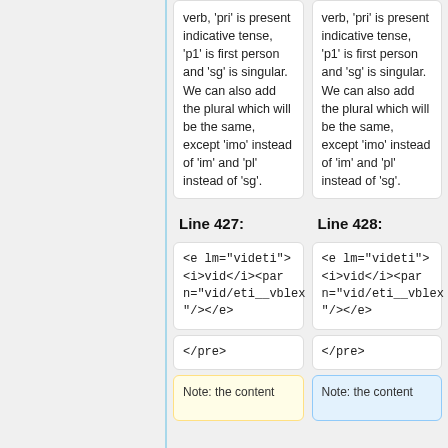verb, 'pri' is present indicative tense, 'p1' is first person and 'sg' is singular. We can also add the plural which will be the same, except 'imo' instead of 'im' and 'pl' instead of 'sg'.
verb, 'pri' is present indicative tense, 'p1' is first person and 'sg' is singular. We can also add the plural which will be the same, except 'imo' instead of 'im' and 'pl' instead of 'sg'.
Line 427:
Line 428:
<e lm="videti"><i>vid</i><par n="vid/eti__vblex"/></e>
<e lm="videti"><i>vid</i><par n="vid/eti__vblex"/></e>
</pre>
</pre>
Note: the content
Note: the content